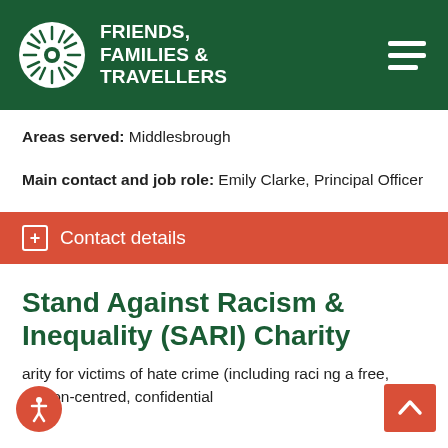FRIENDS, FAMILIES & TRAVELLERS
Areas served: Middlesbrough
Main contact and job role: Emily Clarke, Principal Officer
Contact details
Stand Against Racism & Inequality (SARI) Charity
arity for victims of hate crime (including raci ng a free, person-centred, confidential